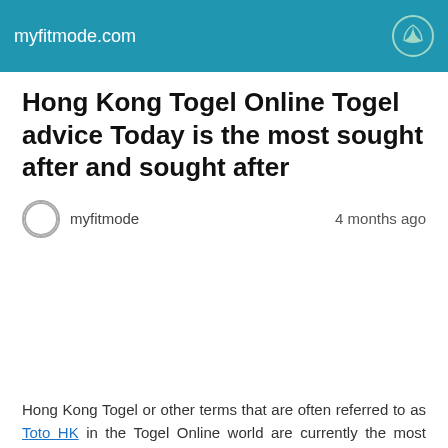myfitmode.com
Hong Kong Togel Online Togel advice Today is the most sought after and sought after
myfitmode   4 months ago
Hong Kong Togel or other terms that are often referred to as Toto HK in the Togel Online world are currently the most sought after products by Indonesians because. By providing the results of